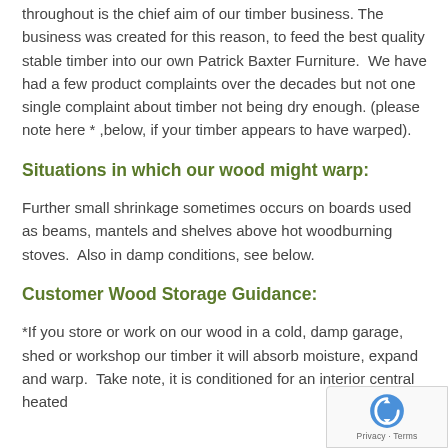throughout is the chief aim of our timber business. The business was created for this reason, to feed the best quality stable timber into our own Patrick Baxter Furniture.  We have had a few product complaints over the decades but not one single complaint about timber not being dry enough. (please note here * ,below, if your timber appears to have warped).
Situations in which our wood might warp:
Further small shrinkage sometimes occurs on boards used as beams, mantels and shelves above hot woodburning stoves.  Also in damp conditions, see below.
Customer Wood Storage Guidance:
*If you store or work on our wood in a cold, damp garage, shed or workshop our timber it will absorb moisture, expand and warp.  Take note, it is conditioned for an interior central heated